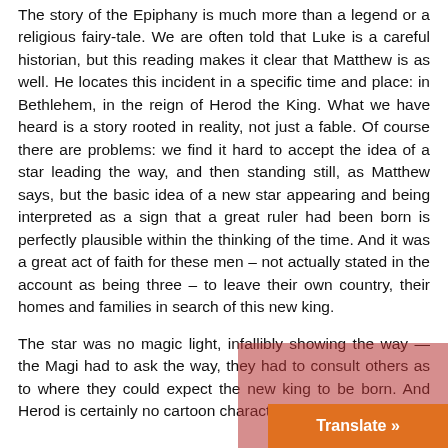The story of the Epiphany is much more than a legend or a religious fairy-tale. We are often told that Luke is a careful historian, but this reading makes it clear that Matthew is as well. He locates this incident in a specific time and place: in Bethlehem, in the reign of Herod the King. What we have heard is a story rooted in reality, not just a fable. Of course there are problems: we find it hard to accept the idea of a star leading the way, and then standing still, as Matthew says, but the basic idea of a new star appearing and being interpreted as a sign that a great ruler had been born is perfectly plausible within the thinking of the time. And it was a great act of faith for these men – not actually stated in the account as being three – to leave their own country, their homes and families in search of this new king.

The star was no magic light, infallibly showing the way — the Magi had to ask the way, they had to consult others as to where they could expect the new king to be born. And Herod is certainly no cartoon character. He real... d